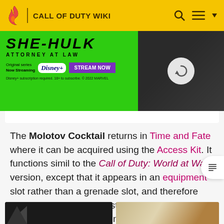CALL OF DUTY WIKI
[Figure (photo): Advertisement banner for She-Hulk: Attorney at Law on Disney+, green background with Disney+ logo and Stream Now button, with a photo of the actress on the right side]
The Molotov Cocktail returns in Time and Fate where it can be acquired using the Access Kit. It functions similarly to the Call of Duty: World at War version, except that it appears in an equipment slot rather than a grenade slot, and therefore has to be brought out first by pressing up on the d-pad (consoles) or Q (on PC) before being lit and thrown with the fire button.